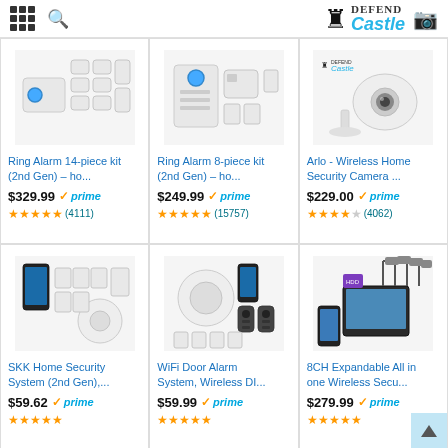Navigation header with grid icon, search icon, and Defend Castle logo
[Figure (screenshot): Ring Alarm 14-piece kit home security product image]
Ring Alarm 14-piece kit (2nd Gen) – ho...
$329.99 prime (4111 reviews)
[Figure (screenshot): Ring Alarm 8-piece kit home security product image]
Ring Alarm 8-piece kit (2nd Gen) – ho...
$249.99 prime (15757 reviews)
[Figure (screenshot): Arlo Wireless Home Security Camera product image]
Arlo - Wireless Home Security Camera ...
$229.00 prime (4062 reviews)
[Figure (screenshot): SKK Home Security System 2nd Gen product image]
SKK Home Security System (2nd Gen),...
$59.62 prime
[Figure (screenshot): WiFi Door Alarm System Wireless DI product image]
WiFi Door Alarm System, Wireless DI...
$59.99 prime
[Figure (screenshot): 8CH Expandable All in one Wireless Security system product image]
8CH Expandable All in one Wireless Secu...
$279.99 prime